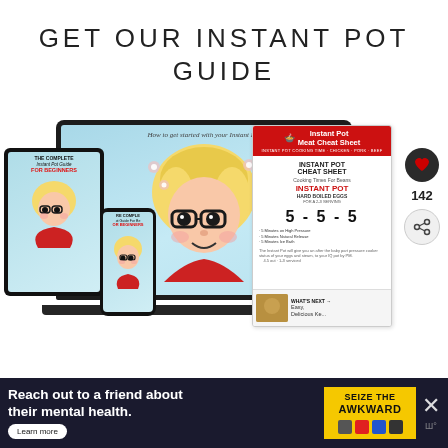GET OUR INSTANT POT GUIDE
[Figure (screenshot): Composite image showing a laptop, tablet, and phone mockup with 'The Complete Instant Pot Guide for Beginners' e-book covers and a cartoon blonde woman character on screen, alongside an Instant Pot Meat Cheat Sheet with cooking times, 5-5-5 method, and social media engagement icons (heart with 142, share). A 'WHAT'S NEXT' section shows 'Easy, Delicious Ke...']
[Figure (infographic): Advertisement banner: 'Reach out to a friend about their mental health. Learn more' with 'SEIZE THE AWKWARD' branding in yellow, sponsor logos, and an X/close icon with WiFi/signal icon on dark navy background.]